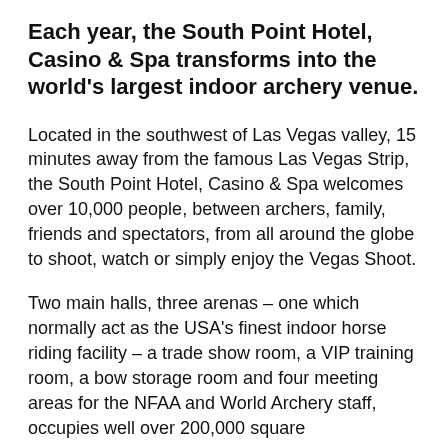Each year, the South Point Hotel, Casino & Spa transforms into the world's largest indoor archery venue.
Located in the southwest of Las Vegas valley, 15 minutes away from the famous Las Vegas Strip, the South Point Hotel, Casino & Spa welcomes over 10,000 people, between archers, family, friends and spectators, from all around the globe to shoot, watch or simply enjoy the Vegas Shoot.
Two main halls, three arenas – one which normally act as the USA's finest indoor horse riding facility – a trade show room, a VIP training room, a bow storage room and four meeting areas for the NFAA and World Archery staff, occupies well over 200,000 square